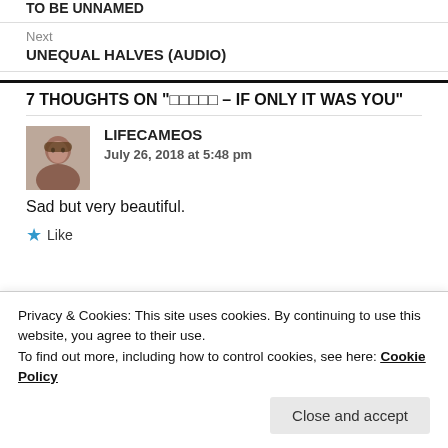TO BE UNNAMED
Next
UNEQUAL HALVES (AUDIO)
7 THOUGHTS ON "□□□□□ – IF ONLY IT WAS YOU"
LIFECAMEOS
July 26, 2018 at 5:48 pm
Sad but very beautiful.
Like
Privacy & Cookies: This site uses cookies. By continuing to use this website, you agree to their use.
To find out more, including how to control cookies, see here: Cookie Policy